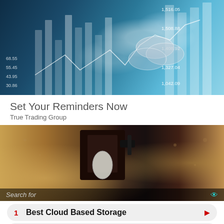[Figure (photo): Finance/trading themed image with stock chart bars, coins, and overlaid financial numbers (1,516.05, 1,508.88, 1,408.92, 1,327.04, 1,042.09) on left side (68.55, 55.45, 43.95, 30.86) with blue tones]
Set Your Reminders Now
True Trading Group
[Figure (photo): Outdoor wall-mounted light fixture close-up photo with sandy textured wall in warm brown tones]
Search for
1  Best Cloud Based Storage
2  Cloud Storage Software System
Yahoo! Search | Sponsored